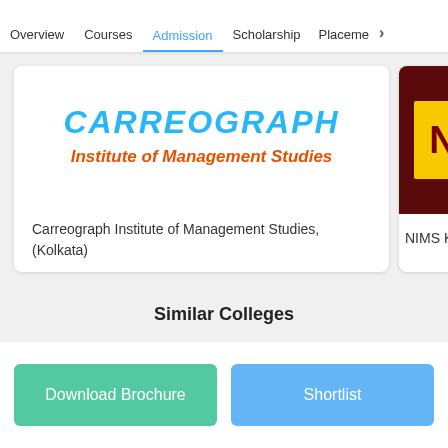Overview  Courses  Admission  Scholarship  Placement  >
[Figure (logo): Carreograph Institute of Management Studies logo with blue italic text CARREOGRAPH and orange bold italic text Institute of Management Studies]
Carreograph Institute of Management Studies, (Kolkata)
[Figure (logo): NIMS Kolkata partial logo with dark red background and yellow block with letter N]
NIMS Kol
Similar Colleges
Download Brochure
Shortlist